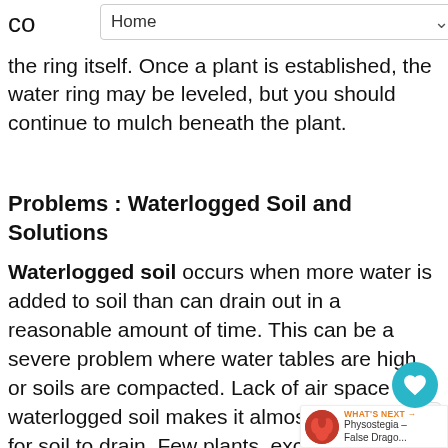Home
co... of the ring itself. Once a plant is established, the water ring may be leveled, but you should continue to mulch beneath the plant.
Problems : Waterlogged Soil and Solutions
Waterlogged soil occurs when more water is added to soil than can drain out in a reasonable amount of time. This can be a severe problem where water tables are high or soils are compacted. Lack of air space in waterlogged soil makes it almost impossible for soil to drain. Few plants, except for bog plants, can tolerate these conditions. Drainage must be improved if you are not satisfied with bog
[Figure (infographic): Heart/like button (teal circle with heart icon, count of 1), share button, and 'What's Next' panel showing a red flower thumbnail with text 'Physostegia – False Drago...']